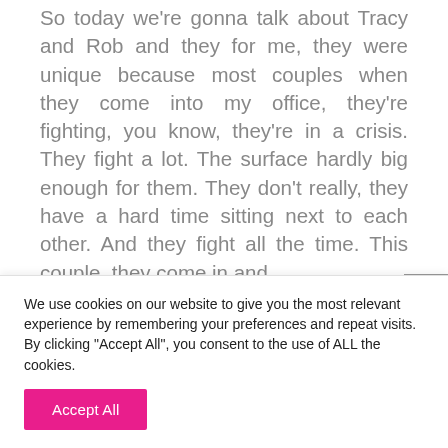So today we're gonna talk about Tracy and Rob and they for me, they were unique because most couples when they come into my office, they're fighting, you know, they're in a crisis. They fight a lot. The surface hardly big enough for them. They don't really, they have a hard time sitting next to each other. And they fight all the time. This couple, they come in and
We use cookies on our website to give you the most relevant experience by remembering your preferences and repeat visits. By clicking "Accept All", you consent to the use of ALL the cookies.
Accept All